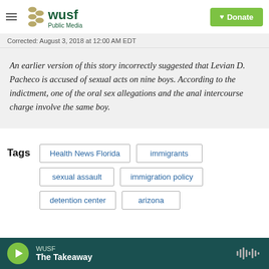WUSF Public Media — Donate
Corrected: August 3, 2018 at 12:00 AM EDT
An earlier version of this story incorrectly suggested that Levian D. Pacheco is accused of sexual acts on nine boys. According to the indictment, one of the oral sex allegations and the anal intercourse charge involve the same boy.
Tags: Health News Florida | immigrants | sexual assault | immigration policy | detention center | arizona
WUSF — The Takeaway